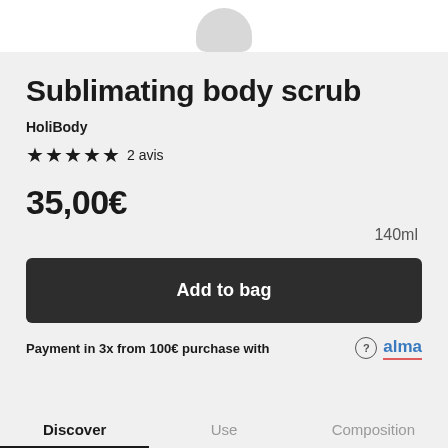[Figure (photo): Top portion of a white/grey cylindrical product bottle against white background]
Sublimating body scrub
HoliBody
★★★★★ 2 avis
35,00€
140ml
Add to bag
Payment in 3x from 100€ purchase with  alma
Discover  Use  Composition